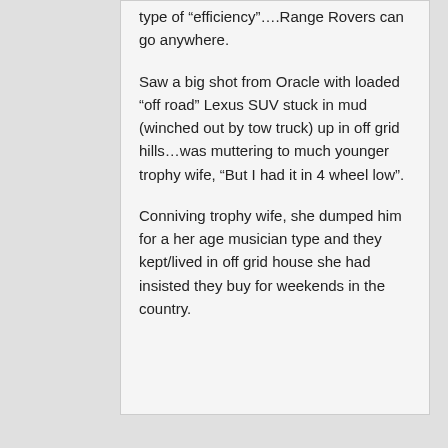type of “efficiency”….Range Rovers can go anywhere.
Saw a big shot from Oracle with loaded “off road” Lexus SUV stuck in mud (winched out by tow truck) up in off grid hills…was muttering to much younger trophy wife, “But I had it in 4 wheel low”.
Conniving trophy wife, she dumped him for a her age musician type and they kept/lived in off grid house she had insisted they buy for weekends in the country.